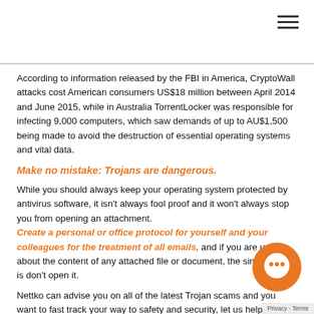According to information released by the FBI in America, CryptoWall attacks cost American consumers US$18 million between April 2014 and June 2015, while in Australia TorrentLocker was responsible for infecting 9,000 computers, which saw demands of up to AU$1,500 being made to avoid the destruction of essential operating systems and vital data.
Make no mistake: Trojans are dangerous.
While you should always keep your operating system protected by antivirus software, it isn't always fool proof and it won't always stop you from opening an attachment. Create a personal or office protocol for yourself and your colleagues for the treatment of all emails, and if you are unsure about the content of any attached file or document, the simple rule is don't open it.
Nettko can advise you on all of the latest Trojan scams and you want to fast track your way to safety and security, let us help